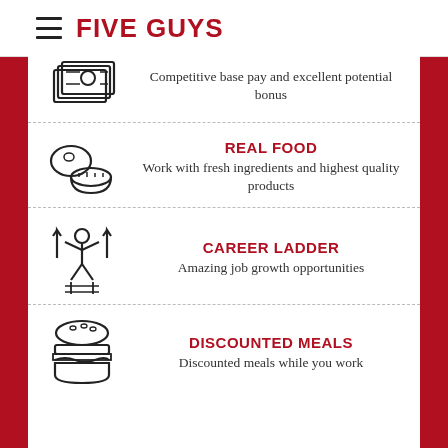FIVE GUYS
Competitive base pay and excellent potential bonus
REAL FOOD
Work with fresh ingredients and highest quality products
CAREER LADDER
Amazing job growth opportunities
DISCOUNTED MEALS
Discounted meals while you work